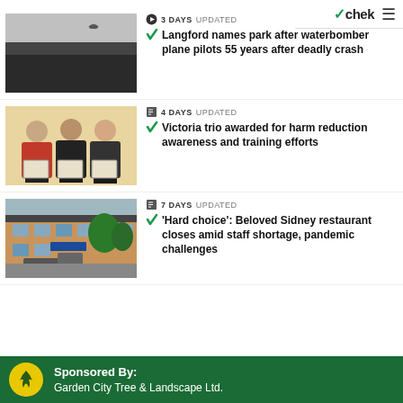chek
[Figure (photo): Black and white outdoor photo showing trees and sky with a bird visible]
3 DAYS  UPDATED
Langford names park after waterbomber plane pilots 55 years after deadly crash
[Figure (photo): Three women standing together holding framed certificates/awards]
4 DAYS  UPDATED
Victoria trio awarded for harm reduction awareness and training efforts
[Figure (photo): Exterior photo of a beige/tan commercial building with a pickup truck parked in front]
7 DAYS  UPDATED
'Hard choice': Beloved Sidney restaurant closes amid staff shortage, pandemic challenges
Sponsored By:
Garden City Tree & Landscape Ltd.